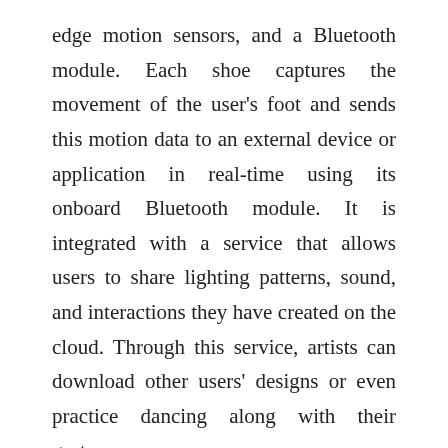edge motion sensors, and a Bluetooth module. Each shoe captures the movement of the user's foot and sends this motion data to an external device or application in real-time using its onboard Bluetooth module. It is integrated with a service that allows users to share lighting patterns, sound, and interactions they have created on the cloud. Through this service, artists can download other users' designs or even practice dancing along with their gestures.
Wearable devices for sports employ advanced analytics which includes relatively distinct areas of technology; location technology and inertial sensor data. These technologies tell us about the athletes' location and capture detailed information about the small constant movements they make while practicing